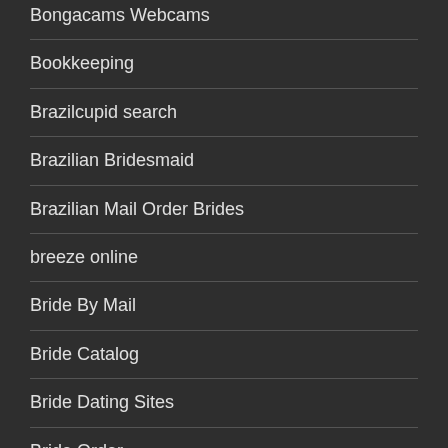Bongacams Webcams
Bookkeeping
Brazilcupid search
Brazilian Bridesmaid
Brazilian Mail Order Brides
breeze online
Bride By Mail
Bride Catalog
Bride Dating Sites
Bride Order
Bride Order Catalog